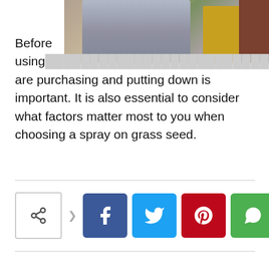[Figure (photo): Photo of a person at a yellow door with brown wall visible, partially obscured]
Before using [the type of soil you] are purchasing and putting down is important. It is also essential to consider what factors matter most to you when choosing a spray on grass seed.
[Figure (other): Social share bar with share button, Facebook, Twitter, Pinterest, and WhatsApp buttons]
infolinks
...rticle    Next artic...
Up to 30% off Ballard Designs
Furniture stores and home decor. It's Ballard!
ballarddesigns.com